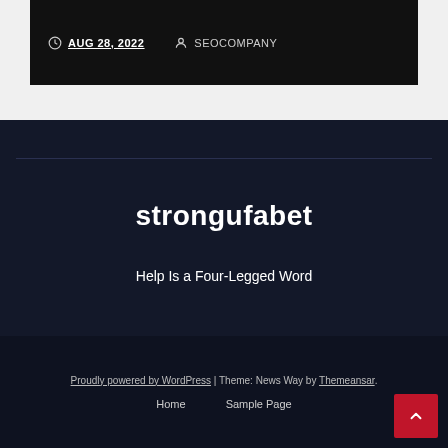AUG 28, 2022   SEOCOMPANY
strongufabet
Help Is a Four-Legged Word
Proudly powered by WordPress | Theme: News Way by Themeansar.  Home   Sample Page